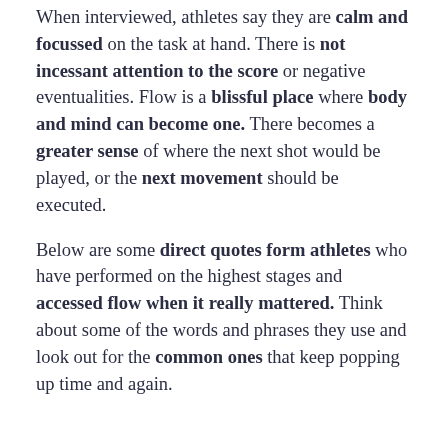When interviewed, athletes say they are calm and focussed on the task at hand. There is not incessant attention to the score or negative eventualities. Flow is a blissful place where body and mind can become one. There becomes a greater sense of where the next shot would be played, or the next movement should be executed.
Below are some direct quotes form athletes who have performed on the highest stages and accessed flow when it really mattered. Think about some of the words and phrases they use and look out for the common ones that keep popping up time and again.